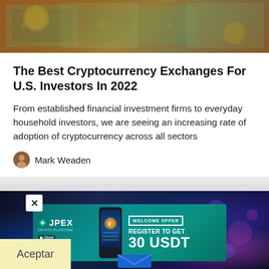[Figure (photo): Banner photo of US dollar bills and financial instruments with reddish-warm tones]
The Best Cryptocurrency Exchanges For U.S. Investors In 2022
From established financial investment firms to everyday household investors, we are seeing an increasing rate of adoption of cryptocurrency across all sectors
Mark Weaden
[Figure (photo): JPEX Crypto Platform advertisement banner with phone mockup showing welcome offer: Register to Get 30 USDT, with X close button, Aceptar button, and dark tech background with blue/purple bokeh lighting]